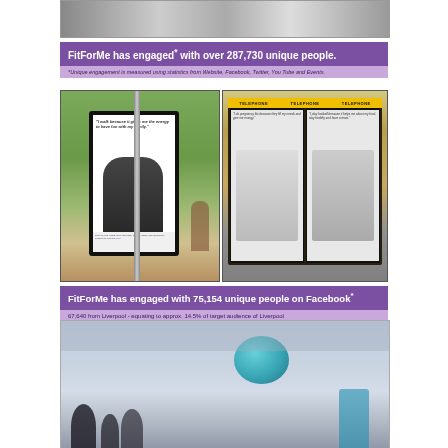[Figure (photo): Top portion of outdoor advertisement photos, partially cropped]
FitForMe has engaged* with over 287,730 unique people.
*Unique engagement is measured using statistics from Website, Facebook, Twitter, You Tube and Events.
[Figure (photo): Bus stop advertisement showing man with quote 'I walk because it gives me the energy to have fun with my family.' FitForMe campaign poster]
[Figure (photo): Telephone box advertisements showing FitForMe campaign posters with pregnant woman and man with ball]
FitForMe has engaged with 75,154 unique people on Facebook*
67,640 from Liverpool - equating to approx. 14.5% of target audience of Liverpool
[Figure (photo): Outdoor scene with teal/blue spherical sculpture and city skyline in background, partially cropped at bottom of page]